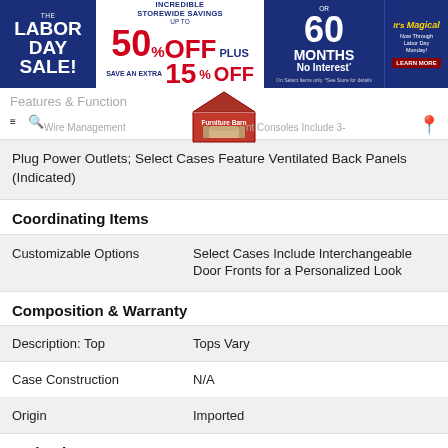[Figure (screenshot): Labor Day Sale banner advertisement: INCREDIBLE STOREWIDE SAVINGS UP TO 50% OFF PLUS SAVE AN EXTRA 15% OFF OR 60 Months No Interest]
[Figure (logo): Furniture Barn logo with barn house graphic and sofa]
Wire Management   Entertainment Consoles Include 3-Plug Power Outlets; Select Cases Feature Ventilated Back Panels (Indicated)
Coordinating Items
| Customizable Options | Select Cases Include Interchangeable Door Fronts for a Personalized Look |
Composition & Warranty
| Description: Top | Tops Vary |
| Case Construction | N/A |
| Origin | Imported |
Style Elements
|  | Medium |